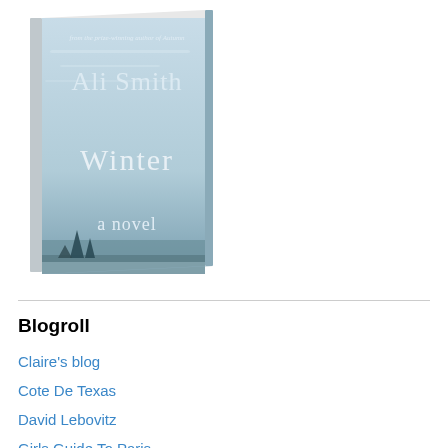[Figure (illustration): Book cover of 'Winter: a novel' by Ali Smith. Light blue/wintry sky cover with author name at top and title in the middle.]
Blogroll
Claire's blog
Cote De Texas
David Lebovitz
Girls Guide To Paris